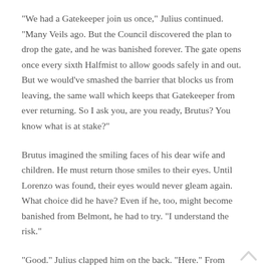“We had a Gatekeeper join us once,” Julius continued. “Many Veils ago. But the Council discovered the plan to drop the gate, and he was banished forever. The gate opens once every sixth Halfmist to allow goods safely in and out. But we would’ve smashed the barrier that blocks us from leaving, the same wall which keeps that Gatekeeper from ever returning. So I ask you, are you ready, Brutus? You know what is at stake?”
Brutus imagined the smiling faces of his dear wife and children. He must return those smiles to their eyes. Until Lorenzo was found, their eyes would never gleam again. What choice did he have? Even if he, too, might become banished from Belmont, he had to try. “I understand the risk.”
“Good.” Julius clapped him on the back. “Here.” From beneath his robe, the headsman pushed a small device